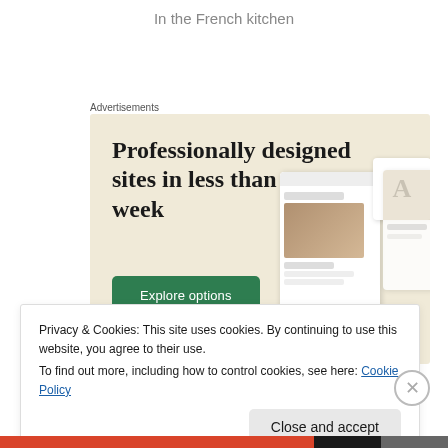In the French kitchen
Advertisements
[Figure (screenshot): Advertisement banner with beige background showing headline 'Professionally designed sites in less than a week', a green 'Explore options' button, and mockup device screenshots of website designs on the right side.]
Privacy & Cookies: This site uses cookies. By continuing to use this website, you agree to their use.
To find out more, including how to control cookies, see here: Cookie Policy